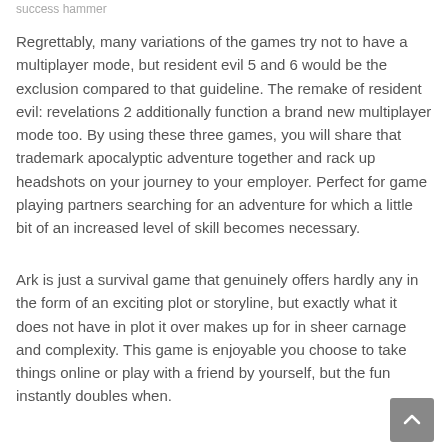success hammer
Regrettably, many variations of the games try not to have a multiplayer mode, but resident evil 5 and 6 would be the exclusion compared to that guideline. The remake of resident evil: revelations 2 additionally function a brand new multiplayer mode too. By using these three games, you will share that trademark apocalyptic adventure together and rack up headshots on your journey to your employer. Perfect for game playing partners searching for an adventure for which a little bit of an increased level of skill becomes necessary.
Ark is just a survival game that genuinely offers hardly any in the form of an exciting plot or storyline, but exactly what it does not have in plot it over makes up for in sheer carnage and complexity. This game is enjoyable you choose to take things online or play with a friend by yourself, but the fun instantly doubles when.